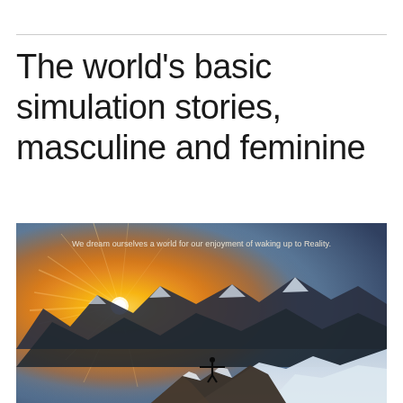The world’s basic simulation stories, masculine and feminine
[Figure (photo): A person standing on a snowy mountain peak with arms outstretched, silhouetted against a dramatic golden sunrise with sun rays bursting over snow-covered mountain ranges. Text overlay reads: 'We dream ourselves a world for our enjoyment of waking up to Reality.']
We dream ourselves a world for our enjoyment of waking up to Reality.